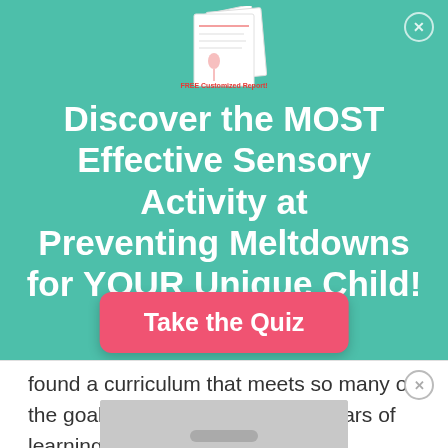[Figure (logo): Bundle of customized report cards/worksheets logo with text 'FREE Customized Report!']
Discover the MOST Effective Sensory Activity at Preventing Meltdowns for YOUR Unique Child!
[Figure (other): Pink rounded rectangle button labeled 'Take the Quiz']
found a curriculum that meets so many of the goals I have for these early years of learning...
[Figure (photo): Gray screenshot or photo at bottom of page, partially visible]